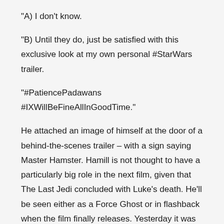"A) I don't know.
"B) Until they do, just be satisfied with this exclusive look at my own personal #StarWars trailer.
"#PatiencePadawans #IXWillBeFineAllInGoodTime."
He attached an image of himself at the door of a behind-the-scenes trailer – with a sign saying Master Hamster. Hamill is not thought to have a particularly big role in the next film, given that The Last Jedi concluded with Luke's death. He'll be seen either as a Force Ghost or in flashback when the film finally releases. Yesterday it was rumoured that he'll tell Rey (Daisy Ridley) that it was his father, Anakin Skywalker, who was spiritually guiding him when he used Force